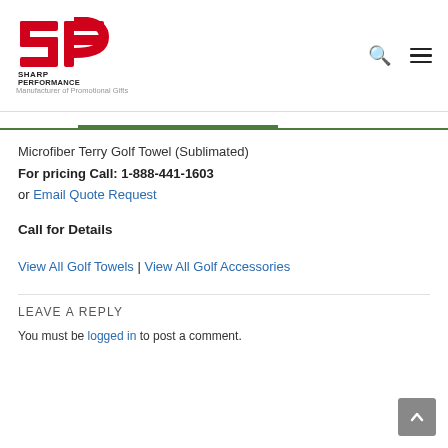[Figure (logo): Sharp Performance logo — red SP lettermark with SHARP PERFORMANCE text below, and tagline 'Manufacturer of Promotional Gifts']
Microfiber Terry Golf Towel (Sublimated)
For pricing Call: 1-888-441-1603
or Email Quote Request
Call for Details
View All Golf Towels | View All Golf Accessories
LEAVE A REPLY
You must be logged in to post a comment.